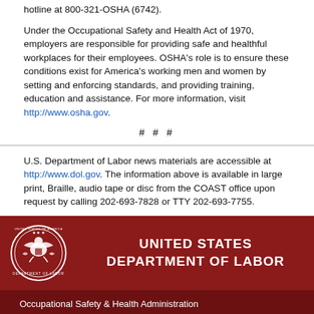hotline at 800-321-OSHA (6742).
Under the Occupational Safety and Health Act of 1970, employers are responsible for providing safe and healthful workplaces for their employees. OSHA's role is to ensure these conditions exist for America's working men and women by setting and enforcing standards, and providing training, education and assistance. For more information, visit http://www.osha.gov.
# # #
U.S. Department of Labor news materials are accessible at http://www.dol.gov. The information above is available in large print, Braille, audio tape or disc from the COAST office upon request by calling 202-693-7828 or TTY 202-693-7755.
[Figure (logo): U.S. Department of Labor seal in white on dark red background]
UNITED STATES DEPARTMENT OF LABOR
Occupational Safety & Health Administration
200 Constitution Ave NW